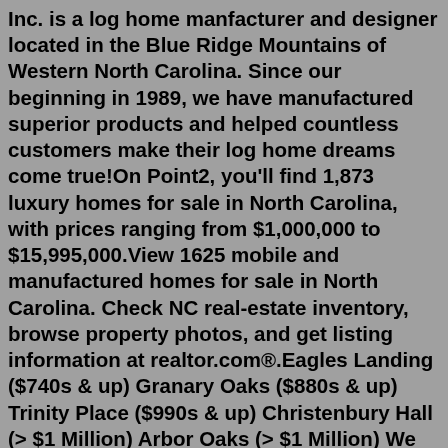Inc. is a log home manfacturer and designer located in the Blue Ridge Mountains of Western North Carolina. Since our beginning in 1989, we have manufactured superior products and helped countless customers make their log home dreams come true!On Point2, you'll find 1,873 luxury homes for sale in North Carolina, with prices ranging from $1,000,000 to $15,995,000.View 1625 mobile and manufactured homes for sale in North Carolina. Check NC real-estate inventory, browse property photos, and get listing information at realtor.com®.Eagles Landing ($740s & up) Granary Oaks ($880s & up) Trinity Place ($990s & up) Christenbury Hall (> $1 Million) Arbor Oaks (> $1 Million) We can help with various transaction types - including the purchase of Concord condos, townhomes, townhouses, as well as Concord, NC foreclosures . Other nearby towns with Cabarrus County homes for sale ...Log cabins & rustic homes for sale across the US & around the globe. Unusual designs & all sizes. Unique settings! Videos & Details. ...Waynesville, North Carolina 28785. 3 Beds, 3...